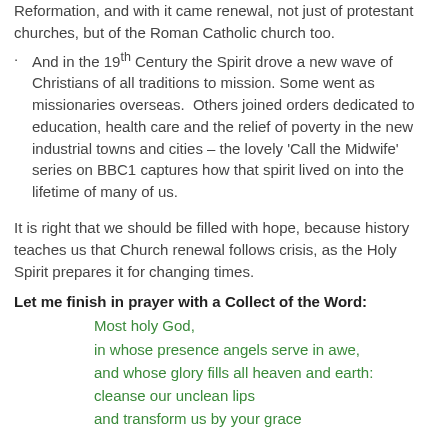Reformation, and with it came renewal, not just of protestant churches, but of the Roman Catholic church too.
And in the 19th Century the Spirit drove a new wave of Christians of all traditions to mission. Some went as missionaries overseas.  Others joined orders dedicated to education, health care and the relief of poverty in the new industrial towns and cities – the lovely ‘Call the Midwife’ series on BBC1 captures how that spirit lived on into the lifetime of many of us.
It is right that we should be filled with hope, because history teaches us that Church renewal follows crisis, as the Holy Spirit prepares it for changing times.
Let me finish in prayer with a Collect of the Word:
Most holy God,
in whose presence angels serve in awe,
and whose glory fills all heaven and earth:
cleanse our unclean lips
and transform us by your grace